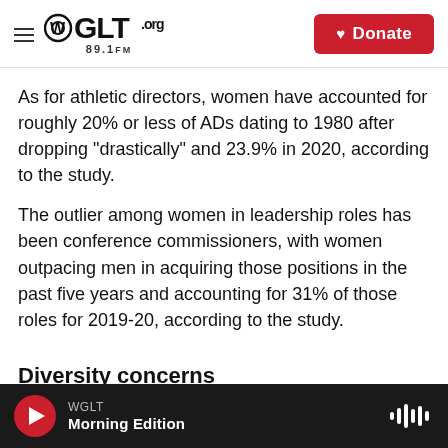WGLT.org 89.1FM | Donate
As for athletic directors, women have accounted for roughly 20% or less of ADs dating to 1980 after dropping "drastically" and 23.9% in 2020, according to the study.
The outlier among women in leadership roles has been conference commissioners, with women outpacing men in acquiring those positions in the past five years and accounting for 31% of those roles for 2019-20, according to the study.
Diversity concerns
WGLT Morning Edition